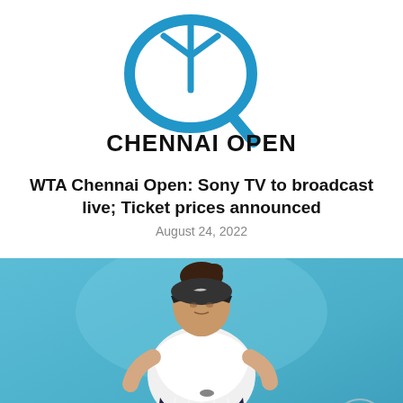[Figure (logo): Chennai Open tennis tournament logo — blue stylized tennis racket outline with text 'CHENNAI OPEN' in bold black letters below]
WTA Chennai Open: Sony TV to broadcast live; Ticket prices announced
August 24, 2022
[Figure (photo): Female tennis player in white Nike shirt and dark visor cap leaning forward in a ready stance on a blue court background, with a circular watermark in bottom right corner]